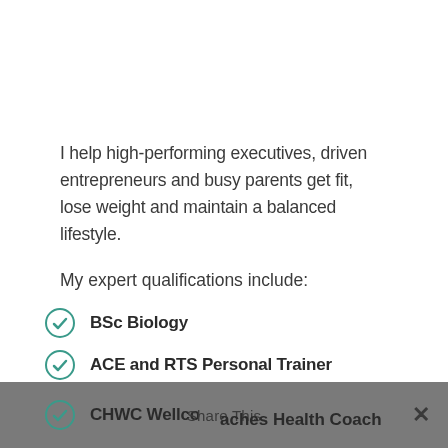I help high-performing executives, driven entrepreneurs and busy parents get fit, lose weight and maintain a balanced lifestyle.
My expert qualifications include:
BSc Biology
ACE and RTS Personal Trainer
E-RYT 200 Yoga Teacher
Pn2 Precision Nutrition Coach Level 2
CHWC Wellcoaches Health Coach
Share This